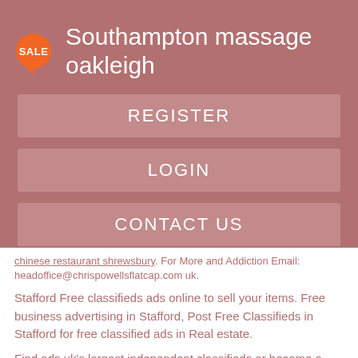Southampton massage oakleigh
REGISTER
LOGIN
CONTACT US
chinese restaurant shrewsbury. For More and Addiction Email: headoffice@chrispowellsflatcap.com uk.
Stafford Free classifieds ads online to sell your items. Free business advertising in Stafford, Post Free Classifieds in Stafford for free classified ads in Real estate.
Find ads uk's largest independent classifieds or become a free ad trader & post for FREE in minutes.
Find & buy exactly what you want Stafford